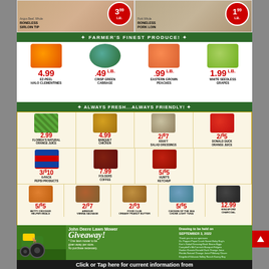[Figure (photo): Grocery store weekly ad flyer showing meat section at top with Boneless Sirloin Tip $3.99/lb and Boneless Pork Loin $1.99/lb]
FARMER'S FINEST PRODUCE!
[Figure (infographic): Produce section: EZ-Peel Halo Clementines 4.99, Crisp Green Cabbage .49/lb, Eastern Grown Peaches .99/lb, White Seedless Grapes 1.99/lb]
ALWAYS FRESH...ALWAYS FRIENDLY!
[Figure (infographic): Grocery items grid: Orange Juice 2.99, Banquet Chicken 4.99, Kraft Salad Dressings 2/$7, Donald Duck Orange Juice 2/$5, 6-Pack Pepsi Products 3/$10, Folgers Coffee 7.99, Hunt's Ketchup 5/$5, Betty Crocker Helper Meals 5/$5, Armour Vienna Sausage 2/$7, Food Club Creamy Peanut Butter 2/$3, Chicken of the Sea Chunk Light Tuna 5/$5, Kingsford Charcoal 12.99]
[Figure (infographic): John Deere Lawn Mower Giveaway! Drawing to be held on September 3, 2022]
Click or Tap here for current information from